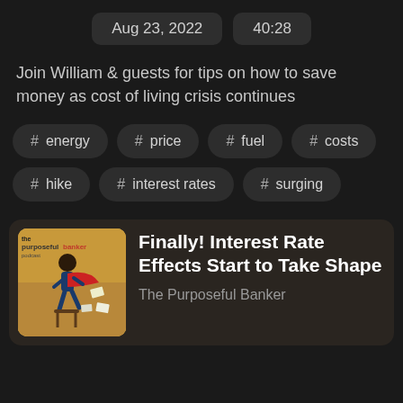Aug 23, 2022   40:28
Join William & guests for tips on how to save money as cost of living crisis continues
# energy
# price
# fuel
# costs
# hike
# interest rates
# surging
Finally! Interest Rate Effects Start to Take Shape
The Purposeful Banker